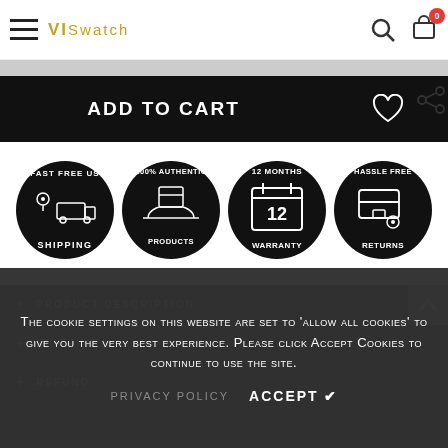VISwatch
ADD TO CART
[Figure (infographic): Four circular black badge icons: Fast Free US Shipping, 100% Authentic Products, 12 Months Warranty, Hassle Free Returns]
The cookie settings on this website are set to 'allow all cookies' to give you the very best experience. Please click Accept Cookies to continue to use the site.
PRIVACY POLICY   ACCEPT ✔
+ PRODUCT DESCRIPTION
+ SHIPPING
+ REFUND